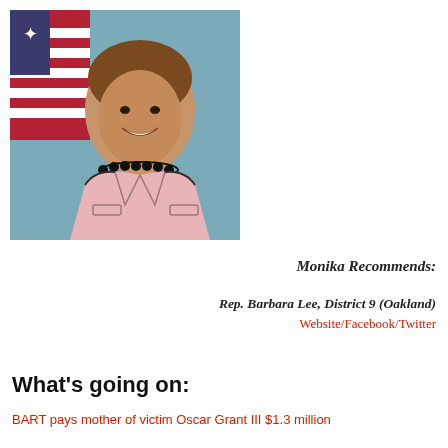[Figure (photo): Official portrait photo of Rep. Barbara Lee wearing a pink jacket with black beaded necklace, smiling, with American flag in background]
Monika Recommends:
Rep. Barbara Lee, District 9 (Oakland)
Website/Facebook/Twitter
What's going on:
BART pays mother of victim Oscar Grant III $1.3 million